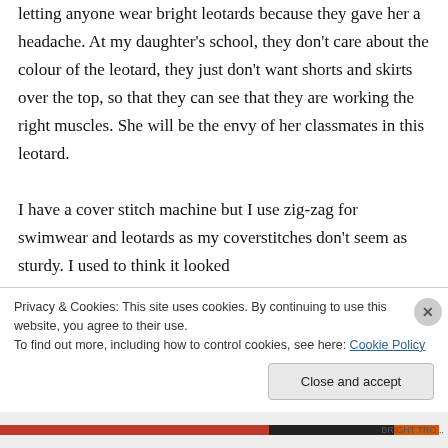letting anyone wear bright leotards because they gave her a headache. At my daughter's school, they don't care about the colour of the leotard, they just don't want shorts and skirts over the top, so that they can see that they are working the right muscles. She will be the envy of her classmates in this leotard.

I have a cover stitch machine but I use zig-zag for swimwear and leotards as my coverstitches don't seem as sturdy. I used to think it looked
Privacy & Cookies: This site uses cookies. By continuing to use this website, you agree to their use.
To find out more, including how to control cookies, see here: Cookie Policy